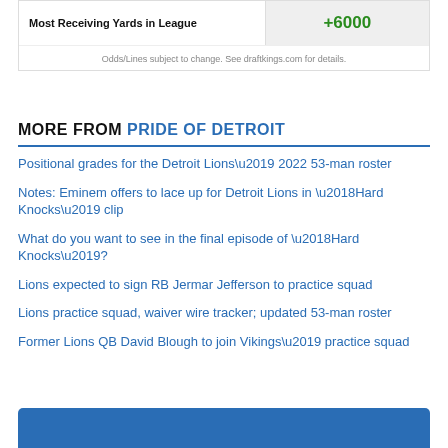| Most Receiving Yards in League | +6000 |
| --- | --- |
Odds/Lines subject to change. See draftkings.com for details.
MORE FROM PRIDE OF DETROIT
Positional grades for the Detroit Lions’ 2022 53-man roster
Notes: Eminem offers to lace up for Detroit Lions in ‘Hard Knocks’ clip
What do you want to see in the final episode of ‘Hard Knocks’?
Lions expected to sign RB Jermar Jefferson to practice squad
Lions practice squad, waiver wire tracker; updated 53-man roster
Former Lions QB David Blough to join Vikings’ practice squad